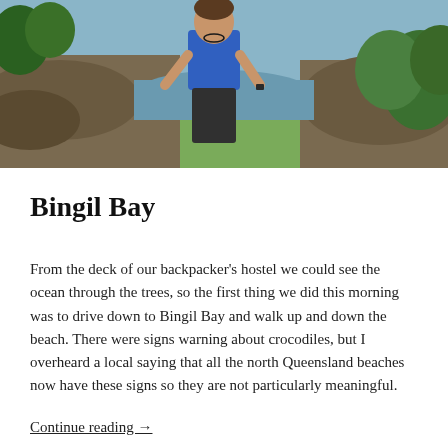[Figure (photo): Woman in blue t-shirt standing outdoors near rocky shoreline with water and green vegetation in background]
Bingil Bay
From the deck of our backpacker's hostel we could see the ocean through the trees, so the first thing we did this morning was to drive down to Bingil Bay and walk up and down the beach. There were signs warning about crocodiles, but I overheard a local saying that all the north Queensland beaches now have these signs so they are not particularly meaningful.
Continue reading →